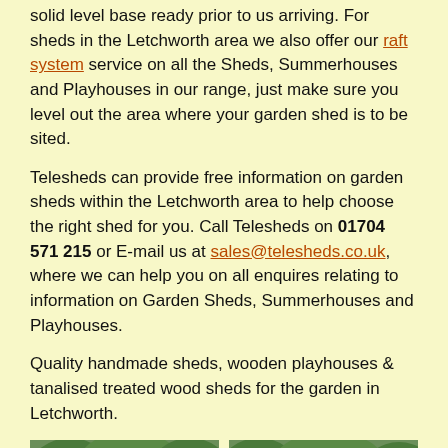solid level base ready prior to us arriving. For sheds in the Letchworth area we also offer our raft system service on all the Sheds, Summerhouses and Playhouses in our range, just make sure you level out the area where your garden shed is to be sited.
Telesheds can provide free information on garden sheds within the Letchworth area to help choose the right shed for you. Call Telesheds on 01704 571 215 or E-mail us at sales@telesheds.co.uk, where we can help you on all enquires relating to information on Garden Sheds, Summerhouses and Playhouses.
Quality handmade sheds, wooden playhouses & tanalised treated wood sheds for the garden in Letchworth.
[Figure (photo): Photo of a wooden garden shed with grey roof against trees]
[Figure (photo): Photo of another wooden garden shed with grey roof against trees]